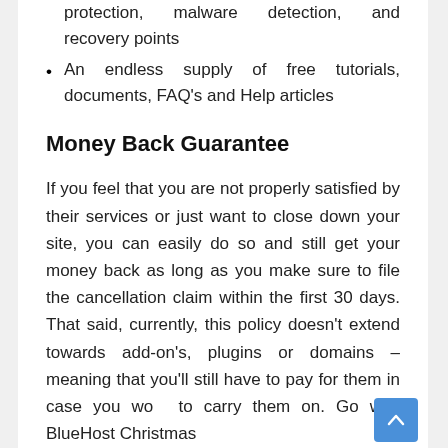protection, malware detection, and recovery points
An endless supply of free tutorials, documents, FAQ's and Help articles
Money Back Guarantee
If you feel that you are not properly satisfied by their services or just want to close down your site, you can easily do so and still get your money back as long as you make sure to file the cancellation claim within the first 30 days. That said, currently, this policy doesn't extend towards add-on's, plugins or domains – meaning that you'll still have to pay for them in case you want to carry them on. Go with BlueHost Christmas